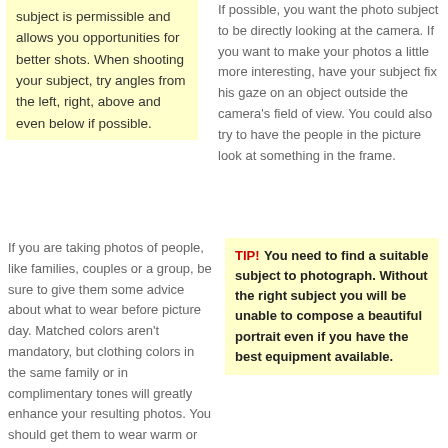subject is permissible and allows you opportunities for better shots. When shooting your subject, try angles from the left, right, above and even below if possible.
If possible, you want the photo subject to be directly looking at the camera. If you want to make your photos a little more interesting, have your subject fix his gaze on an object outside the camera's field of view. You could also try to have the people in the picture look at something in the frame.
If you are taking photos of people, like families, couples or a group, be sure to give them some advice about what to wear before picture day. Matched colors aren't mandatory, but clothing colors in the same family or in complimentary tones will greatly enhance your resulting photos. You should get them to wear warm or neutral colors, this will good with all backgrounds. If you are considering a more festive, brightly colored setting, advise the
TIP! You need to find a suitable subject to photograph. Without the right subject you will be unable to compose a beautiful portrait even if you have the best equipment available.